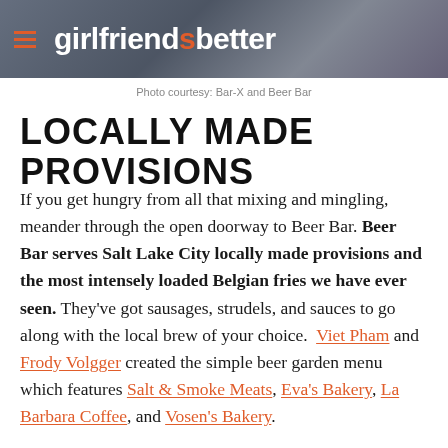girlfriend is better
Photo courtesy: Bar-X and Beer Bar
LOCALLY MADE PROVISIONS
If you get hungry from all that mixing and mingling, meander through the open doorway to Beer Bar. Beer Bar serves Salt Lake City locally made provisions and the most intensely loaded Belgian fries we have ever seen. They've got sausages, strudels, and sauces to go along with the local brew of your choice. Viet Pham and Frody Volgger created the simple beer garden menu which features Salt & Smoke Meats, Eva's Bakery, La Barbara Coffee, and Vosen's Bakery.